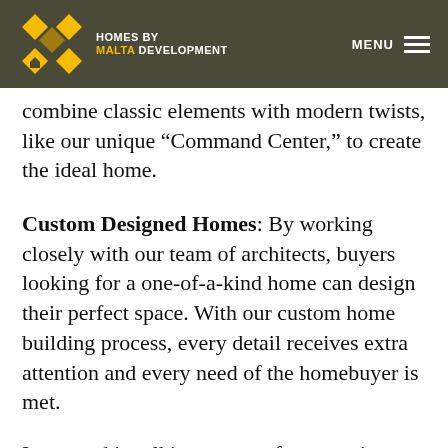[Figure (logo): Homes by Malta Development logo with diamond/checkered pattern in yellow and dark, with company name text]
MENU
combine classic elements with modern twists, like our unique “Command Center,” to create the ideal home.
Custom Designed Homes: By working closely with our team of architects, buyers looking for a one-of-a-kind home can design their perfect space. With our custom home building process, every detail receives extra attention and every need of the homebuyer is met.
Interested in talking to one of our gracious sales associates will gladly answer any questions or concerns. They can be